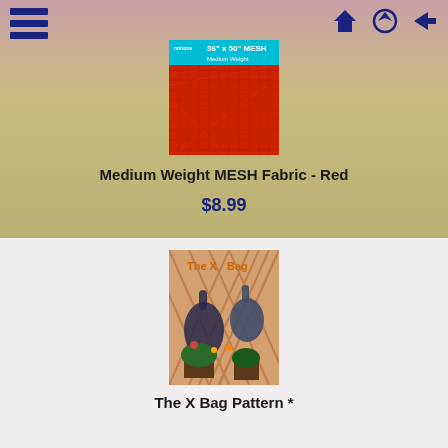[Figure (photo): Red medium weight mesh fabric rolled/displayed, with label showing '36" x 50" MESH Medium Weight']
Medium Weight MESH Fabric - Red
$8.99
[Figure (photo): The X Bag pattern cover showing two bags hanging on a lattice fence with plants]
The X Bag Pattern *